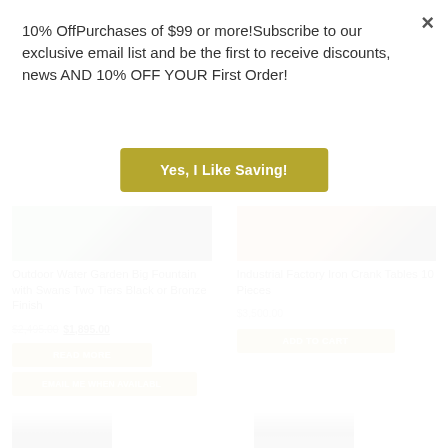10% OffPurchases of $99 or more!Subscribe to our exclusive email list and be the first to receive discounts, news AND 10% OFF YOUR First Order!
Yes, I Like Saving!
[Figure (photo): Partial product image of Outdoor Water Garden Big Fountain with Swans Two Tiers Black or Bronze Finish]
Outdoor Water Garden Big Fountain with Swans Two Tiers Black or Bronze Finish
$2,495.00 $1,895.00
READ MORE
EMAIL ME WHEN AVAILABLE
[Figure (photo): Partial product image of Industrial Factory Iron Crank Tables 10 Pieces]
Industrial Factory Iron Crank Tables 10 Pieces
$3,500.00
ADD TO CART
[Figure (photo): Bottom row product images partially visible]
×